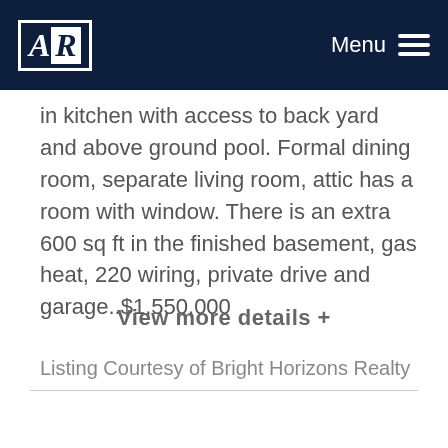AR Menu
in kitchen with access to back yard and above ground pool. Formal dining room, separate living room, attic has a room with window. There is an extra 600 sq ft in the finished basement, gas heat, 220 wiring, private drive and garage..$1,550,000
Listing Courtesy of Bright Horizons Realty
View more details +